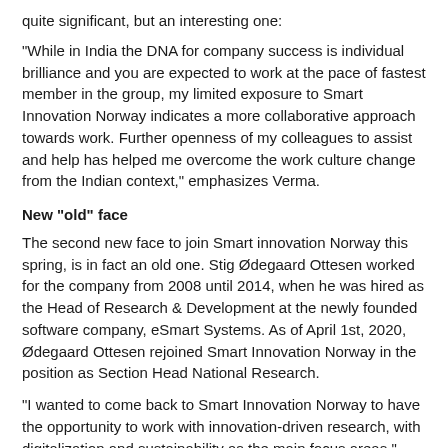quite significant, but an interesting one:
“While in India the DNA for company success is individual brilliance and you are expected to work at the pace of fastest member in the group, my limited exposure to Smart Innovation Norway indicates a more collaborative approach towards work. Further openness of my colleagues to assist and help has helped me overcome the work culture change from the Indian context,” emphasizes Verma.
New “old” face
The second new face to join Smart innovation Norway this spring, is in fact an old one. Stig Ødegaard Ottesen worked for the company from 2008 until 2014, when he was hired as the Head of Research & Development at the newly founded software company, eSmart Systems. As of April 1st, 2020, Ødegaard Ottesen rejoined Smart Innovation Norway in the position as Section Head National Research.
“I wanted to come back to Smart Innovation Norway to have the opportunity to work with innovation-driven research, with digitalization and sustainability as the main focus areas,” comments Ødegaard Ottesen.
He holds a PhD in Industrial Economics and Technology Management from the Norwegian University of Science and Technology (NTNU). The topic of his thesis was Techno-economic models in SmartGrids. He also has a MSc in Electrical Power Engineering.